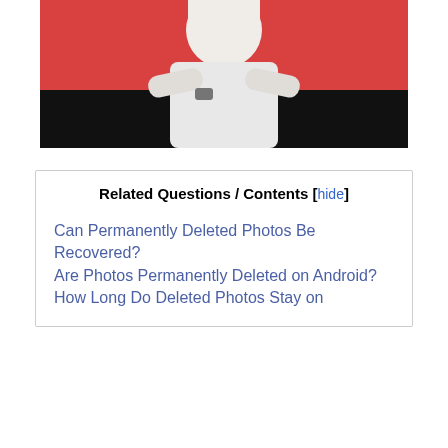[Figure (photo): Person in white shirt with arms crossed against a red/pink background, lower portion fading to black]
Related Questions / Contents [hide]
Can Permanently Deleted Photos Be Recovered?
Are Photos Permanently Deleted on Android?
How Long Do Deleted Photos Stay on